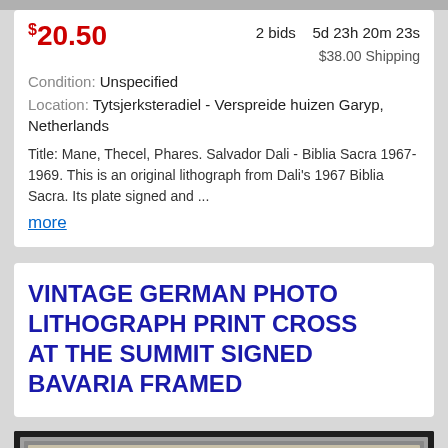$20.50 | 2 bids | 5d 23h 20m 23s | $38.00 Shipping
Condition: Unspecified
Location: Tytsjerksteradiel - Verspreide huizen Garyp, Netherlands
Title: Mane, Thecel, Phares. Salvador Dali - Biblia Sacra 1967-1969. This is an original lithograph from Dali's 1967 Biblia Sacra. Its plate signed and ... more
VINTAGE GERMAN PHOTO LITHOGRAPH PRINT CROSS AT THE SUMMIT SIGNED BAVARIA FRAMED
[Figure (photo): A framed vintage German photo lithograph print showing a cross at the summit against cloudy sky, in a silver/metal frame with cream mat, sepia toned image.]